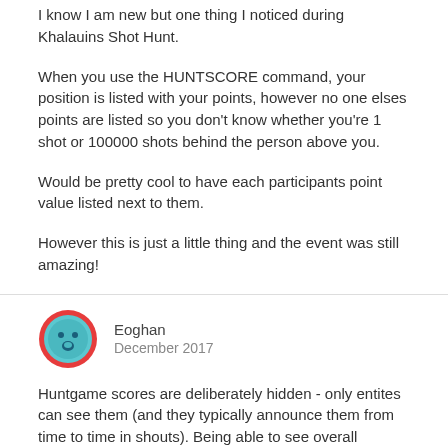I know I am new but one thing I noticed during Khalauins Shot Hunt.
When you use the HUNTSCORE command, your position is listed with your points, however no one elses points are listed so you don't know whether you're 1 shot or 100000 shots behind the person above you.
Would be pretty cool to have each participants point value listed next to them.
However this is just a little thing and the event was still amazing!
Eoghan
December 2017
Huntgame scores are deliberately hidden - only entites can see them (and they typically announce them from time to time in shouts). Being able to see overall rankings (not just your own score) is a fairly recent change, in fact - until recently you could